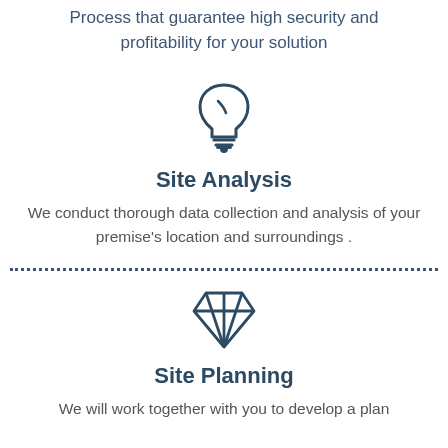Process that guarantee high security and profitability for your solution
[Figure (illustration): Light bulb icon in dark blue/navy color]
Site Analysis
We conduct thorough data collection and analysis of your premise's location and surroundings .
[Figure (illustration): Diamond gem icon in dark blue/navy color]
Site Planning
We will work together with you to develop a plan